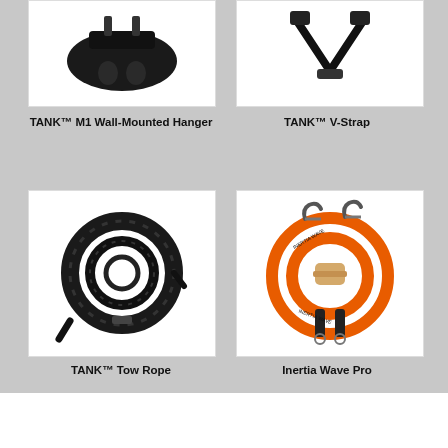[Figure (photo): TANK M1 Wall-Mounted Hanger product photo - black metal hanger hardware on white background]
TANK™ M1 Wall-Mounted Hanger
[Figure (photo): TANK V-Strap product photo on white background]
TANK™ V-Strap
[Figure (photo): TANK Tow Rope - coiled black battle/tow rope on white background]
TANK™ Tow Rope
[Figure (photo): Inertia Wave Pro - orange resistance bands coiled with black handles and metal carabiners on white background]
Inertia Wave Pro